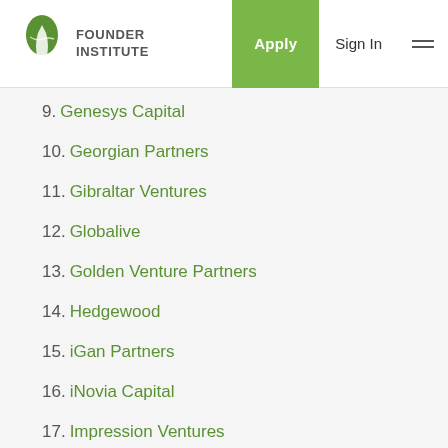Founder Institute | Apply | Sign In
9. Genesys Capital
10. Georgian Partners
11. Gibraltar Ventures
12. Globalive
13. Golden Venture Partners
14. Hedgewood
15. iGan Partners
16. iNovia Capital
17. Impression Ventures
18. Information Venture Partners